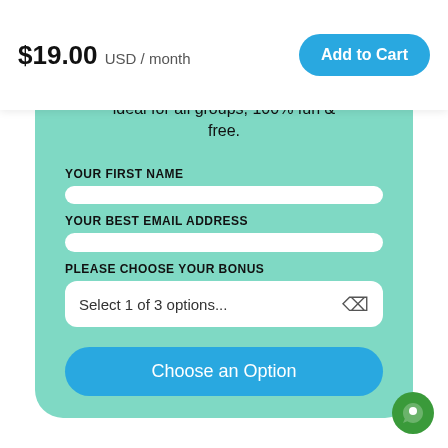$19.00 USD / month
Add to Cart
ice-breakers & group ga... ideal for all groups, 100% fun & free.
YOUR FIRST NAME
YOUR BEST EMAIL ADDRESS
PLEASE CHOOSE YOUR BONUS
Select 1 of 3 options...
Choose an Option